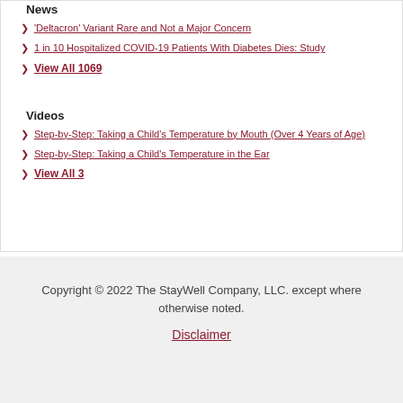News
'Deltacron' Variant Rare and Not a Major Concern
1 in 10 Hospitalized COVID-19 Patients With Diabetes Dies: Study
View All 1069
Videos
Step-by-Step: Taking a Child's Temperature by Mouth (Over 4 Years of Age)
Step-by-Step: Taking a Child's Temperature in the Ear
View All 3
Copyright © 2022 The StayWell Company, LLC. except where otherwise noted.
Disclaimer